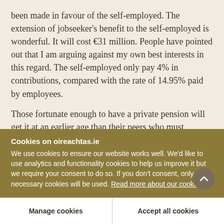been made in favour of the self-employed. The extension of jobseeker's benefit to the self-employed is wonderful. It will cost €31 million. People have pointed out that I am arguing against my own best interests in this regard. The self-employed only pay 4% in contributions, compared with the rate of 14.95% paid by employees.
Those fortunate enough to have a private pension will get it at an earlier age than their peers who must
Cookies on oireachtas.ie
We use cookies to ensure our website works well. We'd like to use analytics and functionality cookies to help us improve it but we require your consent to do so. If you don't consent, only necessary cookies will be used. Read more about our cookies
Manage cookies
Accept all cookies